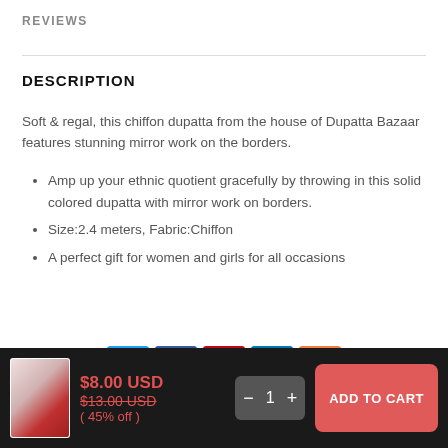REVIEWS
DESCRIPTION
Soft & regal, this chiffon dupatta from the house of Dupatta Bazaar features stunning mirror work on the borders.
Amp up your ethnic quotient gracefully by throwing in this solid colored dupatta with mirror work on borders.
Size:2.4 meters, Fabric:Chiffon
A perfect gift for women and girls for all occasions
[Figure (other): Social share buttons: Twitter, Facebook, Pinterest, LinkedIn, More]
[Figure (other): Bottom bar with product thumbnail, price $8.00 USD (was $13.00 USD, 45% off), quantity selector, and Add to Cart button]